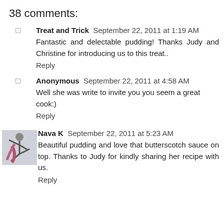38 comments:
Treat and Trick  September 22, 2011 at 1:19 AM
Fantastic and delectable pudding! Thanks Judy and Christine for introducing us to this treat..
Reply
Anonymous  September 22, 2011 at 4:58 AM
Well she was write to invite you you seem a great cook:)
Reply
Nava K  September 22, 2011 at 5:23 AM
Beautiful pudding and love that butterscotch sauce on top. Thanks to Judy for kindly sharing her recipe with us.
Reply